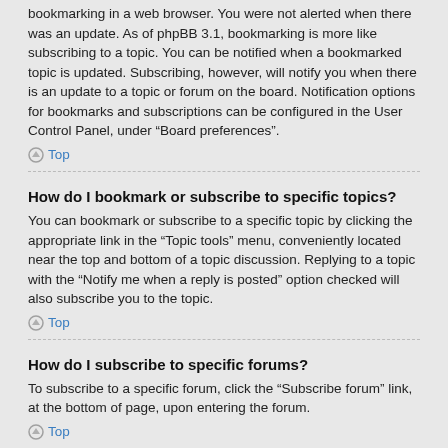bookmarking in a web browser. You were not alerted when there was an update. As of phpBB 3.1, bookmarking is more like subscribing to a topic. You can be notified when a bookmarked topic is updated. Subscribing, however, will notify you when there is an update to a topic or forum on the board. Notification options for bookmarks and subscriptions can be configured in the User Control Panel, under “Board preferences”.
Top
How do I bookmark or subscribe to specific topics?
You can bookmark or subscribe to a specific topic by clicking the appropriate link in the “Topic tools” menu, conveniently located near the top and bottom of a topic discussion. Replying to a topic with the “Notify me when a reply is posted” option checked will also subscribe you to the topic.
Top
How do I subscribe to specific forums?
To subscribe to a specific forum, click the “Subscribe forum” link, at the bottom of page, upon entering the forum.
Top